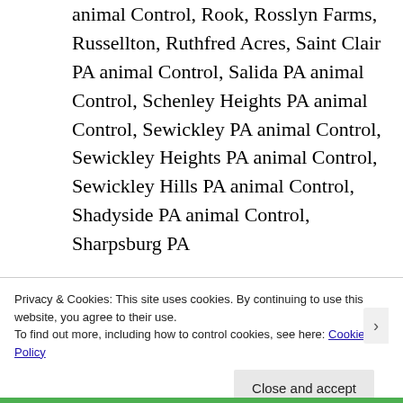animal Control, Rook, Rosslyn Farms, Russellton, Ruthfred Acres, Saint Clair PA animal Control, Salida PA animal Control, Schenley Heights PA animal Control, Sewickley PA animal Control, Sewickley Heights PA animal Control, Sewickley Hills PA animal Control, Shadyside PA animal Control, Sharpsburg PA
Privacy & Cookies: This site uses cookies. By continuing to use this website, you agree to their use.
To find out more, including how to control cookies, see here: Cookie Policy
Close and accept